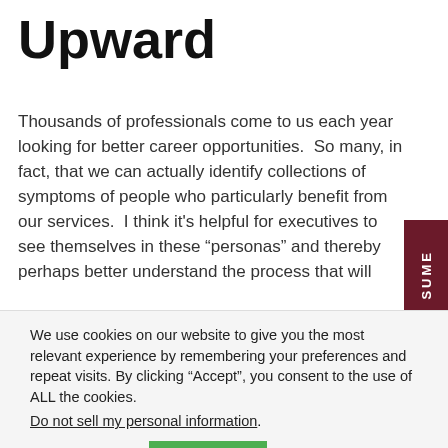Upward
Thousands of professionals come to us each year looking for better career opportunities.  So many, in fact, that we can actually identify collections of symptoms of people who particularly benefit from our services.  I think it's helpful for executives to see themselves in these “personas” and thereby perhaps better understand the process that will
We use cookies on our website to give you the most relevant experience by remembering your preferences and repeat visits. By clicking “Accept”, you consent to the use of ALL the cookies.
Do not sell my personal information.
Cookie settings   ACCEPT